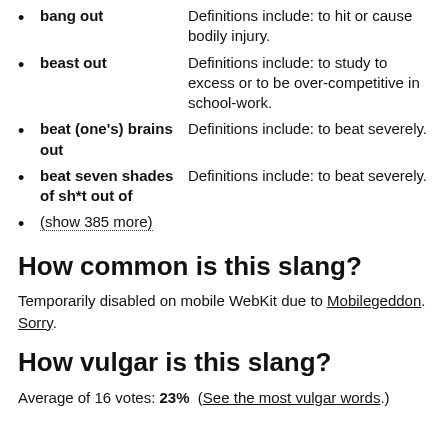bang out — Definitions include: to hit or cause bodily injury.
beast out — Definitions include: to study to excess or to be over-competitive in school-work.
beat (one's) brains out — Definitions include: to beat severely.
beat seven shades of sh*t out of — Definitions include: to beat severely.
(show 385 more)
How common is this slang?
Temporarily disabled on mobile WebKit due to Mobilegeddon. Sorry.
How vulgar is this slang?
Average of 16 votes: 23%  (See the most vulgar words.)